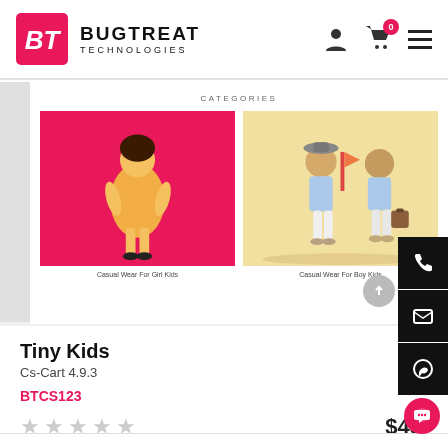[Figure (logo): Bugtreat Technologies logo with pink/red square icon and bold text]
[Figure (screenshot): E-commerce website screenshot showing categories section with two children's clothing images]
Tiny Kids
Cs-Cart 4.9.3
BTCS123
★★★★★ $45.